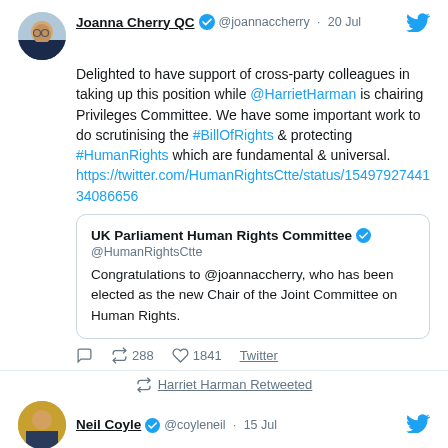Joanna Cherry QC @joannaccherry · 20 Jul
Delighted to have support of cross-party colleagues in taking up this position while @HarrietHarman is chairing Privileges Committee. We have some important work to do scrutinising the #BillOfRights & protecting #HumanRights which are fundamental & universal. https://twitter.com/HumanRightsCtte/status/1549792744134086656
UK Parliament Human Rights Committee @HumanRightsCtte Congratulations to @joannaccherry, who has been elected as the new Chair of the Joint Committee on Human Rights.
288  1841  Twitter
Harriet Harman Retweeted
Neil Coyle @coyleneil · 15 Jul